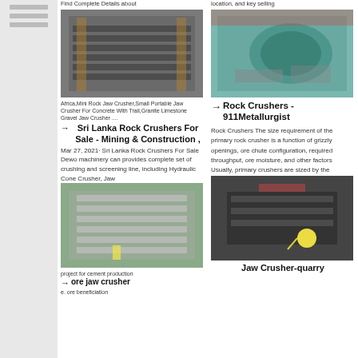[Figure (screenshot): Left sidebar with horizontal gray lines/bars on a light gray background]
Find Complete Details about
location, and key selling
[Figure (photo): Industrial mining/crushing machinery in a factory setting - large screened separator]
Africa,Mini Rock Jaw Crusher,Small Portable Jaw Crusher For Concrete With Trail,Granite Limestone Gravel Jaw Crusher ....
Sri Lanka Rock Crushers For Sale - Mining & Construction ,
Mar 27, 2021· Sri Lanka Rock Crushers For Sale Dewo machinery can provides complete set of crushing and screening line, including Hydraulic Cone Crusher, Jaw
[Figure (photo): Green industrial rock crusher / ball mill machine in factory]
Rock Crushers - 911Metallurgist
Rock Crushers The size requirement of the primary rock crusher is a function of grizzly openings, ore chute configuration, required throughput, ore moisture, and other factors Usually, primary crushers are sized by the
[Figure (photo): Industrial metal shelving/racking units stacked in a warehouse]
project for cement production
ore jaw crusher
e. ore beneficiation
[Figure (photo): CNC laser cutting machine cutting metal plate with spark]
Jaw Crusher-quarry